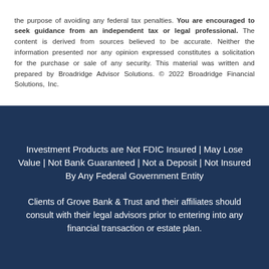the purpose of avoiding any federal tax penalties. You are encouraged to seek guidance from an independent tax or legal professional. The content is derived from sources believed to be accurate. Neither the information presented nor any opinion expressed constitutes a solicitation for the purchase or sale of any security. This material was written and prepared by Broadridge Advisor Solutions. © 2022 Broadridge Financial Solutions, Inc.
Investment Products are Not FDIC Insured | May Lose Value | Not Bank Guaranteed | Not a Deposit | Not Insured By Any Federal Government Entity
Clients of Grove Bank & Trust and their affiliates should consult with their legal advisors prior to entering into any financial transaction or estate plan.